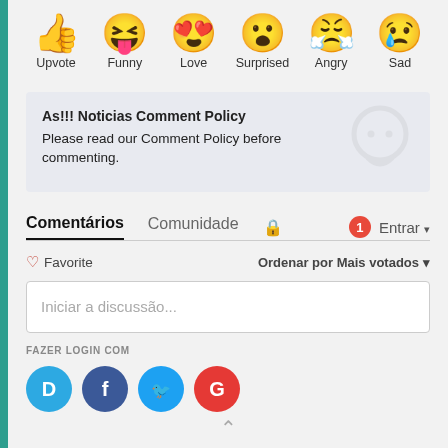[Figure (infographic): Row of six reaction emoji icons with labels: Upvote (thumbs up), Funny (laughing face with tongue), Love (heart eyes), Surprised (surprised face), Angry (angry crying face), Sad (sad face with tear)]
As!!! Noticias Comment Policy
Please read our Comment Policy before commenting.
Comentários  Comunidade  🔒  1  Entrar ▾
♡ Favorite    Ordenar por Mais votados ▾
Iniciar a discussão...
FAZER LOGIN COM
[Figure (logo): Social login icons: Disqus (D, light blue), Facebook (f, dark blue), Twitter (bird, light blue), Google (G, red)]